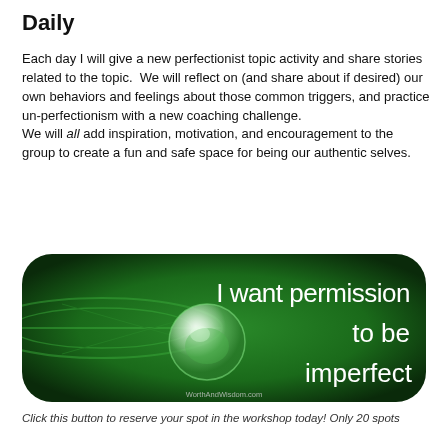Daily
Each day I will give a new perfectionist topic activity and share stories related to the topic.  We will reflect on (and share about if desired) our own behaviors and feelings about those common triggers, and practice un-perfectionism with a new coaching challenge.
We will all add inspiration, motivation, and encouragement to the group to create a fun and safe space for being our authentic selves.
[Figure (illustration): Rounded rectangular button/banner with a dark green background featuring a water droplet on a leaf. White text reads 'I want permission to be imperfect'. Small text at bottom reads 'WorthAndWisdom.com']
Click this button to reserve your spot in the workshop today! Only 20 spots available.